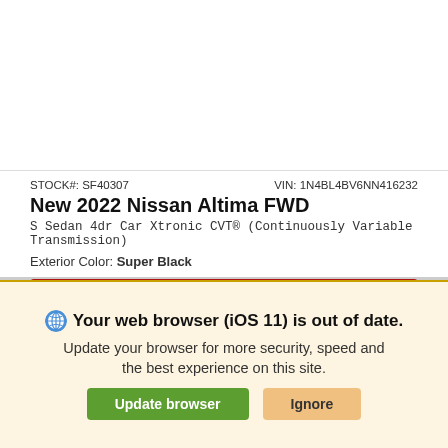STOCK#: SF40307   VIN: 1N4BL4BV6NN416232
New 2022 Nissan Altima FWD
S Sedan 4dr Car Xtronic CVT® (Continuously Variable Transmission)
Exterior Color: Super Black
O'Neil Nissan Price
Call For Availability
*First Name   *Last Name
*Email
Phone
Your web browser (iOS 11) is out of date. Update your browser for more security, speed and the best experience on this site.